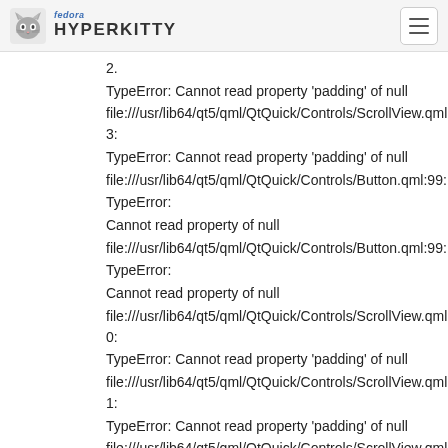fedora HYPERKITTY
2.
TypeError: Cannot read property 'padding' of null
file:///usr/lib64/qt5/qml/QtQuick/Controls/ScrollView.qml:353:
TypeError: Cannot read property 'padding' of null
file:///usr/lib64/qt5/qml/QtQuick/Controls/Button.qml:99:
TypeError:
Cannot read property of null
file:///usr/lib64/qt5/qml/QtQuick/Controls/Button.qml:99:
TypeError:
Cannot read property of null
file:///usr/lib64/qt5/qml/QtQuick/Controls/ScrollView.qml:350:
TypeError: Cannot read property 'padding' of null
file:///usr/lib64/qt5/qml/QtQuick/Controls/ScrollView.qml:351:
TypeError: Cannot read property 'padding' of null
file:///usr/lib64/qt5/qml/QtQuick/Controls/ScrollView.qml:352:
TypeError: Cannot read property 'padding' of null